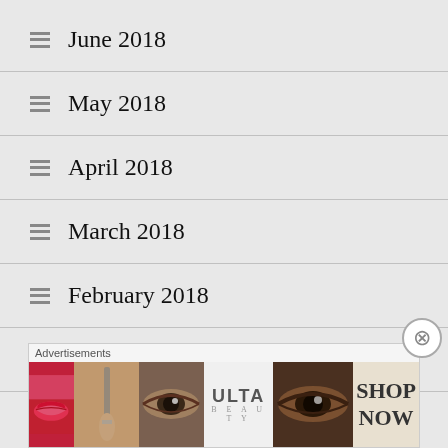June 2018
May 2018
April 2018
March 2018
February 2018
January 2018
December 2017
November 2017
[Figure (photo): Ulta Beauty advertisement banner with makeup photos showing lips, brush, eye, Ulta logo, and SHOP NOW text]
Advertisements